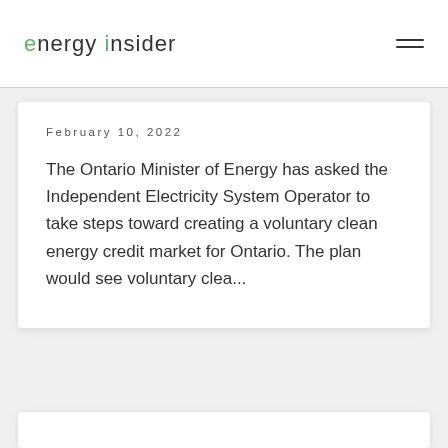energy insider
February 10, 2022
The Ontario Minister of Energy has asked the Independent Electricity System Operator to take steps toward creating a voluntary clean energy credit market for Ontario. The plan would see voluntary clea...